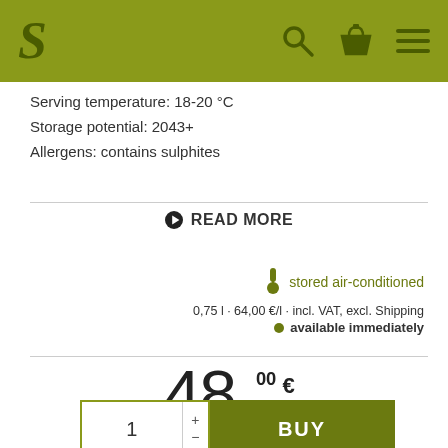[Figure (logo): Website header bar with olive/green background showing a stylized S logo on the left, and search, shopping basket, and hamburger menu icons on the right]
Serving temperature: 18-20 °C
Storage potential: 2043+
Allergens: contains sulphites
▶ READ MORE
stored air-conditioned
0,75 l · 64,00 €/l · incl. VAT, excl. Shipping
● available immediately
48,00 €
1 + - BUY